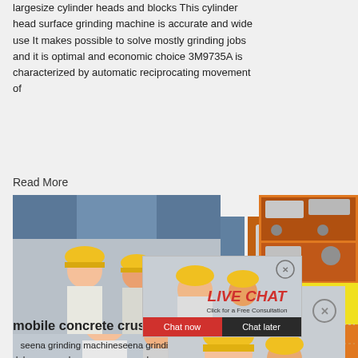largesize cylinder heads and blocks This cylinder head surface grinding machine is accurate and wide use It makes possible to solve mostly grinding jobs and it is optimal and economic choice 3M9735A is characterized by automatic reciprocating movement of
Read More
[Figure (photo): Live chat overlay with workers wearing yellow hard hats, 'LIVE CHAT Click for a Free Consultation' text, Chat now and Chat later buttons]
[Figure (photo): Orange sidebar with images of concrete crusher/mining machinery, Enjoy 3% discount, Click to Chat, Enquiry, limingjlmofen@sina.com]
mobile concrete crusher supplier
seena grinding machineseena grinding m... digunakan dalam penambangan emas; crush... velapaya estate pazhayannur; alstom pulveriz... supply magnetic separation process mining e... for iron ore; stone presetting milling machine; process of grinding li ne; pth crusher crushing cone crusher kws; automatic gold grinding ...